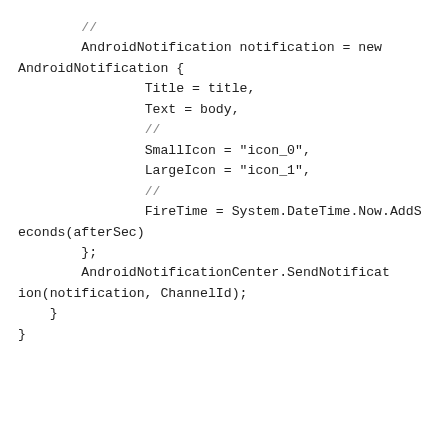// ［コメント略］
            AndroidNotification notification = new AndroidNotification {
                    Title = title,
                    Text = body,
                    // ［コメント省略］
                    SmallIcon = "icon_0",
                    LargeIcon = "icon_1",
                    // ［コメント省略２］
                    FireTime = System.DateTime.Now.AddSeconds(afterSec)
        };
            AndroidNotificationCenter.SendNotification(notification, ChannelId);
    }
}
［コメント省略テキスト］